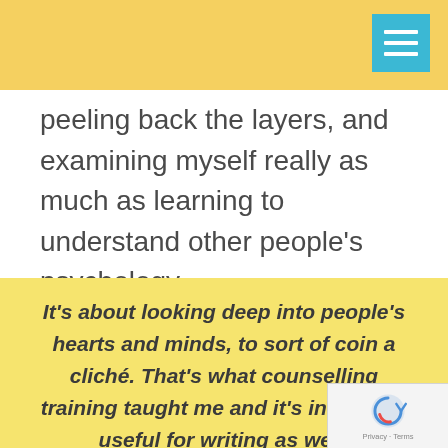[Figure (other): Yellow header bar with cyan hamburger menu icon in top right corner]
peeling back the layers, and examining myself really as much as learning to understand other people's psychology...
It's about looking deep into people's hearts and minds, to sort of coin a cliché. That's what counselling training taught me and it's incredibly useful for writing as well.
[Figure (other): Google reCAPTCHA logo with Privacy and Terms text]